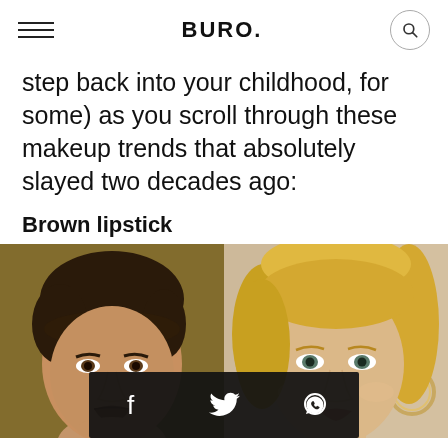BURO.
step back into your childhood, for some) as you scroll through these makeup trends that absolutely slayed two decades ago:
Brown lipstick
[Figure (photo): Two side-by-side photos of women faces. Left: dark-haired woman with brown lipstick on gold/olive background. Right: blonde woman with makeup including hoop earrings. A social share bar with Facebook, Twitter, and WhatsApp icons overlays the bottom center.]